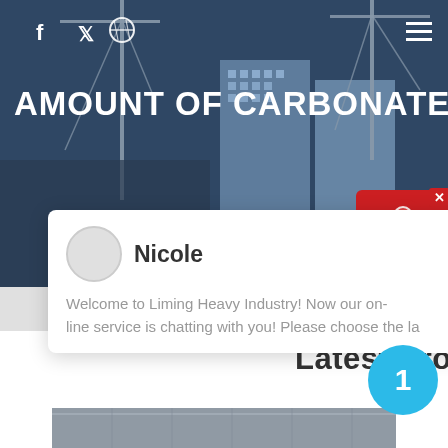[Figure (screenshot): Hero banner with construction site/cranes/buildings background image, dark blue overlay]
AMOUNT OF CARBONATE IN AN
Nicole
Welcome to Liming Heavy Industry! Now our on-line service is chatting with you! Please choose the la…
Latest Projects
[Figure (photo): Industrial facility/plant interior photo at bottom]